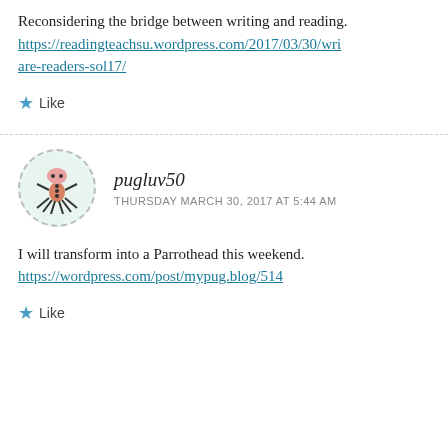Reconsidering the bridge between writing and reading. https://readingteachsu.wordpress.com/2017/03/30/wri are-readers-sol17/
Like
[Figure (illustration): Avatar icon of pugluv50 — stylized creature illustration in a dashed circle]
pugluv50
THURSDAY MARCH 30, 2017 AT 5:44 AM
I will transform into a Parrothead this weekend. https://wordpress.com/post/mypug.blog/514
Like